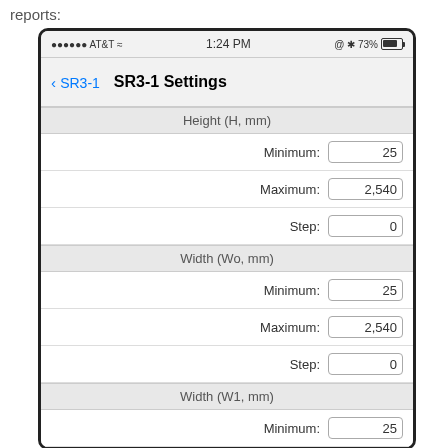reports:
[Figure (screenshot): iPhone screenshot showing SR3-1 Settings screen with fields for Height (H, mm), Width (Wo, mm), Width (W1, mm), and Flow Rate (Q, L/s). Each section has Minimum, Maximum, and Step input fields. Height: Min=25, Max=2,540, Step=0. Width (Wo): Min=25, Max=2,540, Step=0. Width (W1): Min=25, Max=2,540, Step=0. Flow Rate section partially visible.]